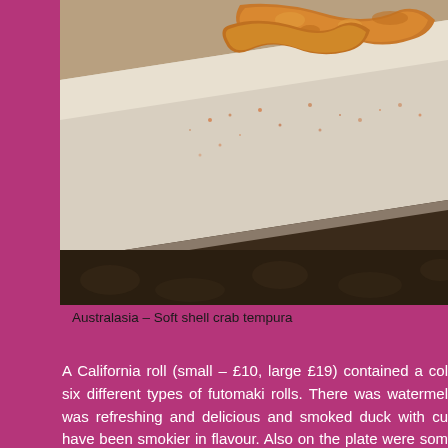[Figure (photo): Close-up photo of soft shell crab tempura on a white rectangular plate with orange spice dusting, on a textured surface]
Australasia – Soft shell crab tempura
A California roll (small – £10, large £19) contained a col six different types of futomaki rolls. There was watermel was refreshing and delicious and smoked duck with cu have been smokier in flavour. Also on the plate were som including tempura prawn with goat's cheese, a combi